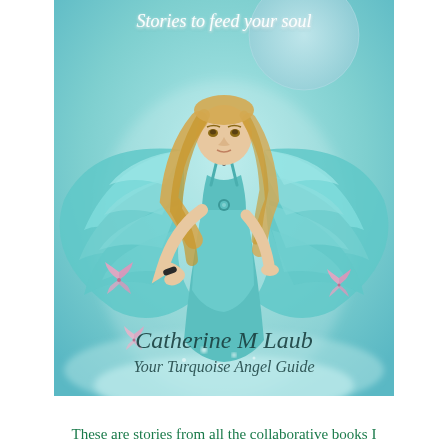[Figure (illustration): Book cover illustration showing a female angel with large turquoise wings, wearing a turquoise dress, with long blonde hair, surrounded by pink butterflies and a misty blue/teal background. Text on cover reads 'Stories to feed your soul', 'Catherine M Laub', 'Your Turquoise Angel Guide'.]
These are stories from all the collaborative books I